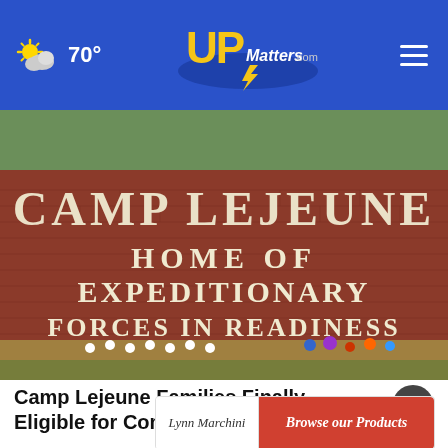70° | UPMatters.com
[Figure (photo): Camp Lejeune brick entrance sign reading 'CAMP LEJEUNE HOME OF EXPEDITIONARY FORCES IN READINESS' with flowers and decorations at the base]
Camp Lejeune Families Finally Eligible for Compensation
[Figure (infographic): Advertisement banner with cursive signature 'Lynn Marchini' on the left and a red button 'Browse our Products' on the right]